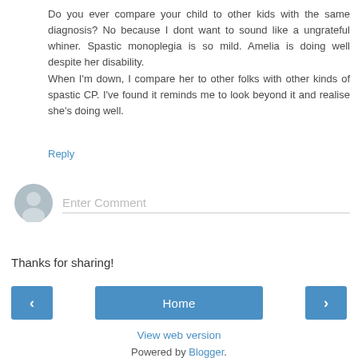Do you ever compare your child to other kids with the same diagnosis? No because I dont want to sound like a ungrateful whiner. Spastic monoplegia is so mild. Amelia is doing well despite her disability.
When I'm down, I compare her to other folks with other kinds of spastic CP. I've found it reminds me to look beyond it and realise she's doing well.
Reply
[Figure (illustration): User avatar placeholder — grey circle with silhouette icon]
Enter Comment
Thanks for sharing!
‹
Home
›
View web version
Powered by Blogger.